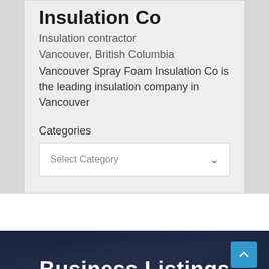Insulation Co
Insulation contractor
Vancouver, British Columbia
Vancouver Spray Foam Insulation Co is the leading insulation company in Vancouver
Categories
Select Category
Business Listings